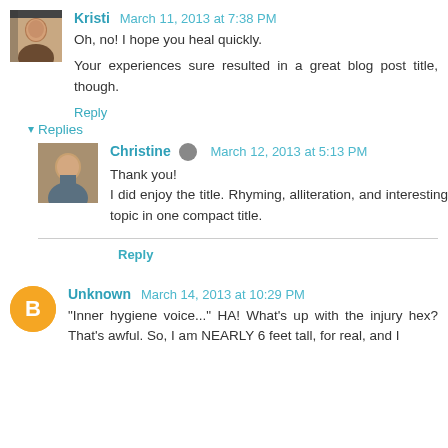[Figure (photo): Avatar photo of Kristi, a woman with brown hair]
Kristi March 11, 2013 at 7:38 PM
Oh, no! I hope you heal quickly.
Your experiences sure resulted in a great blog post title, though.
Reply
Replies
[Figure (photo): Avatar photo of Christine, a woman smiling]
Christine March 12, 2013 at 5:13 PM
Thank you! I did enjoy the title. Rhyming, alliteration, and interesting topic in one compact title.
Reply
[Figure (logo): Unknown user orange circle avatar with Blogger B icon]
Unknown March 14, 2013 at 10:29 PM
"Inner hygiene voice..." HA! What's up with the injury hex? That's awful. So, I am NEARLY 6 feet tall, for real, and I